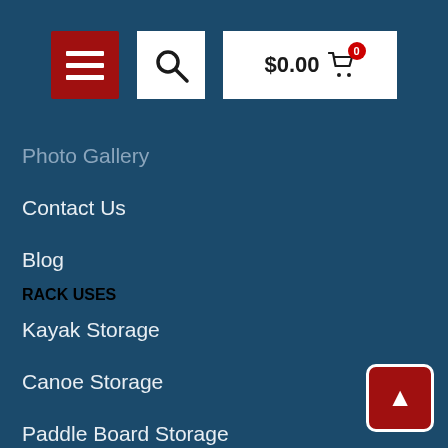[Figure (screenshot): Navigation header bar with hamburger menu button (red), search button (white with magnifying glass icon), and shopping cart button showing $0.00 with a red badge showing 0]
Photo Gallery
Contact Us
Blog
RACK USES
Kayak Storage
Canoe Storage
Paddle Board Storage
Heavy Duty
ABOUT US